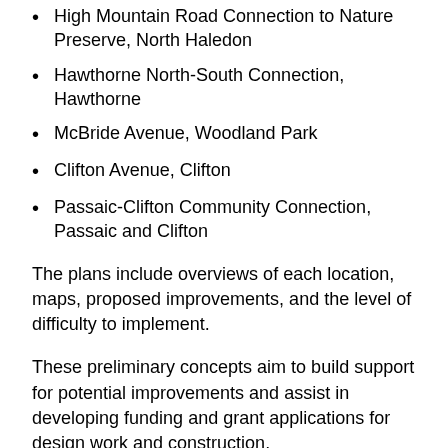High Mountain Road Connection to Nature Preserve, North Haledon
Hawthorne North-South Connection, Hawthorne
McBride Avenue, Woodland Park
Clifton Avenue, Clifton
Passaic-Clifton Community Connection, Passaic and Clifton
The plans include overviews of each location, maps, proposed improvements, and the level of difficulty to implement.
These preliminary concepts aim to build support for potential improvements and assist in developing funding and grant applications for design work and construction.